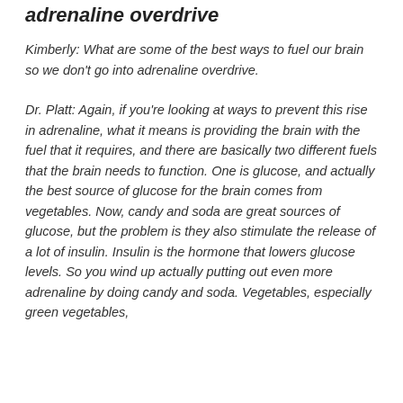adrenaline overdrive
Kimberly: What are some of the best ways to fuel our brain so we don't go into adrenaline overdrive.
Dr. Platt: Again, if you're looking at ways to prevent this rise in adrenaline, what it means is providing the brain with the fuel that it requires, and there are basically two different fuels that the brain needs to function. One is glucose, and actually the best source of glucose for the brain comes from vegetables. Now, candy and soda are great sources of glucose, but the problem is they also stimulate the release of a lot of insulin. Insulin is the hormone that lowers glucose levels. So you wind up actually putting out even more adrenaline by doing candy and soda. Vegetables, especially green vegetables,